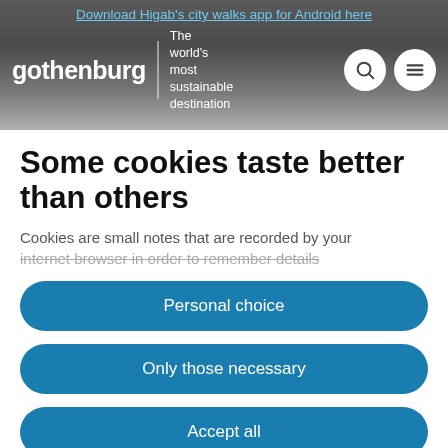Download Higab's city walks app for Android here
[Figure (screenshot): Gothenburg tourism website header with logo 'gothenburg', tagline 'The world's most sustainable destination', search icon and menu icon]
Some cookies taste better than others
Cookies are small notes that are recorded by your internet browser in order to remember details
Personal choice
Only those necessary
Accept all